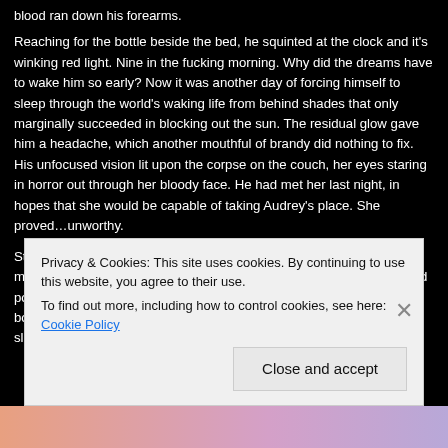blood ran down his forearms.
Reaching for the bottle beside the bed, he squinted at the clock and it's winking red light. Nine in the fucking morning. Why did the dreams have to wake him so early? Now it was another day of forcing himself to sleep through the world's waking life from behind shades that only marginally succeeded in blocking out the sun. The residual glow gave him a headache, which another mouthful of brandy did nothing to fix. His unfocused vision lit upon the corpse on the couch, her eyes staring in horror out through her bloody face. He had met her last night, in hopes that she would be capable of taking Audrey's place. She proved…unworthy.
Standing unsteadily, Lastor moved along the wall clutching the bottle, making his way toward the windowless bathroom, avoiding the blocked portal of light. Locking the door and staunching the gap between the bottom of the bathroom door and the floor exhausted him, and he slumped over once it was done, his
Privacy & Cookies: This site uses cookies. By continuing to use this website, you agree to their use.
To find out more, including how to control cookies, see here: Cookie Policy
Close and accept